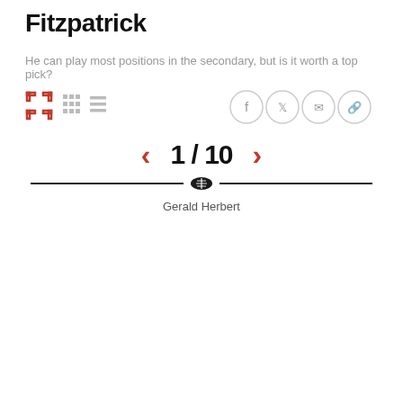Fitzpatrick
He can play most positions in the secondary, but is it worth a top pick?
[Figure (infographic): Toolbar with view toggle icons (expand, grid, list) and social share icons (Facebook, Twitter, email, link)]
[Figure (infographic): Slideshow navigator showing 1 / 10 with left and right red chevron arrows, a horizontal divider with a football icon, and credit 'Gerald Herbert']